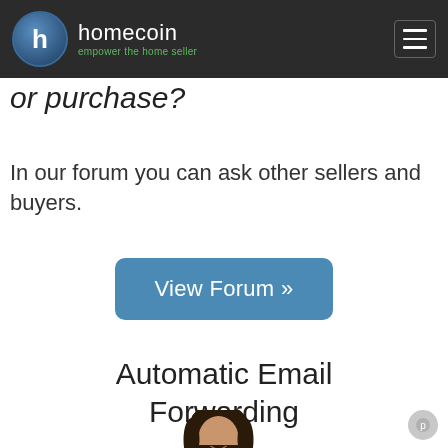homecoin — empower the home seller
or purchase?
In our forum you can ask other sellers and buyers.
[Figure (other): Blue rounded-rectangle button with text 'View Forum »']
Automatic Email Forwarding
[Figure (photo): Photo of a young woman with dark hair looking down]